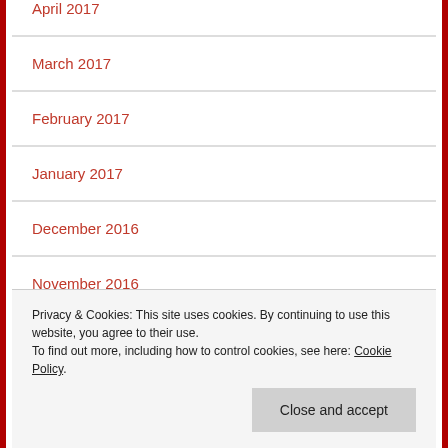April 2017
March 2017
February 2017
January 2017
December 2016
November 2016
October 2016
July 2016
Privacy & Cookies: This site uses cookies. By continuing to use this website, you agree to their use. To find out more, including how to control cookies, see here: Cookie Policy
Close and accept